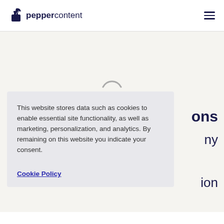peppercontent
[Figure (logo): Pepper Content logo with ink bottle icon and text 'peppercontent' in dark navy]
This website stores data such as cookies to enable essential site functionality, as well as marketing, personalization, and analytics. By remaining on this website you indicate your consent.
Cookie Policy